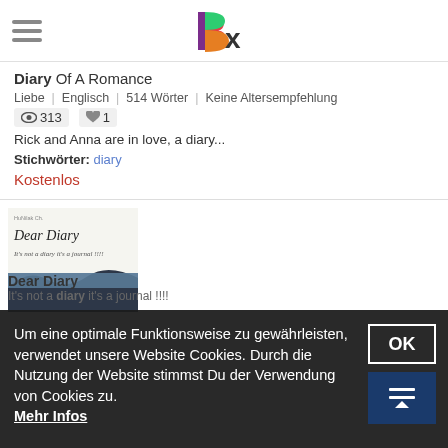Bx logo with hamburger menu
Diary Of A Romance
Liebe | Englisch | 514 Wörter | Keine Altersempfehlung | 313 views | 1 like
Rick and Anna are in love, a diary...
Stichwörter: diary
Kostenlos
[Figure (photo): Book cover of Dear Diary - It's not a diary it's a journal !!!!]
Um eine optimale Funktionsweise zu gewährleisten, verwendet unsere Website Cookies. Durch die Nutzung der Website stimmst Du der Verwendung von Cookies zu. Mehr Infos
Dear Diary
It's not a diary it's a journal !!!!